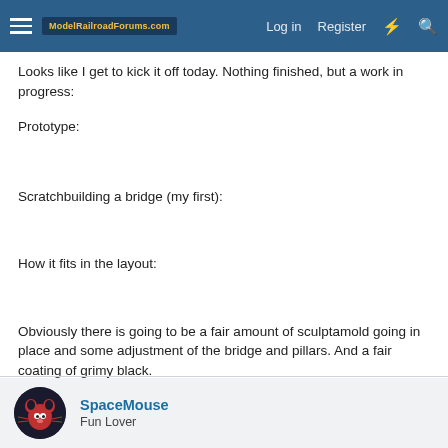ModelRailroadForums.com — Log in  Register
Looks like I get to kick it off today. Nothing finished, but a work in progress:
Prototype:
Scratchbuilding a bridge (my first):
How it fits in the layout:
Obviously there is going to be a fair amount of sculptamold going in place and some adjustment of the bridge and pillars. And a fair coating of grimy black.
SpaceMouse
Fun Lover